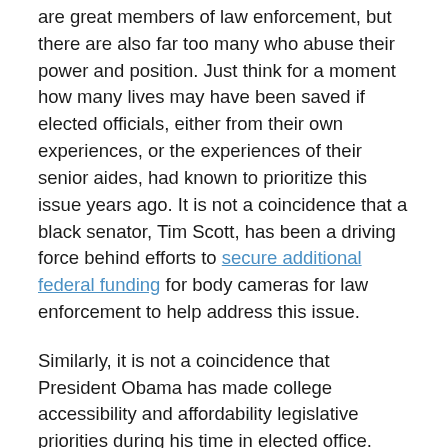are great members of law enforcement, but there are also far too many who abuse their power and position. Just think for a moment how many lives may have been saved if elected officials, either from their own experiences, or the experiences of their senior aides, had known to prioritize this issue years ago. It is not a coincidence that a black senator, Tim Scott, has been a driving force behind efforts to secure additional federal funding for body cameras for law enforcement to help address this issue.
Similarly, it is not a coincidence that President Obama has made college accessibility and affordability legislative priorities during his time in elected office. Neither he nor his wife came from wealthy backgrounds, and financial aid enabled them both to attend elite universities that allowed them entrée into the halls of power in which they now